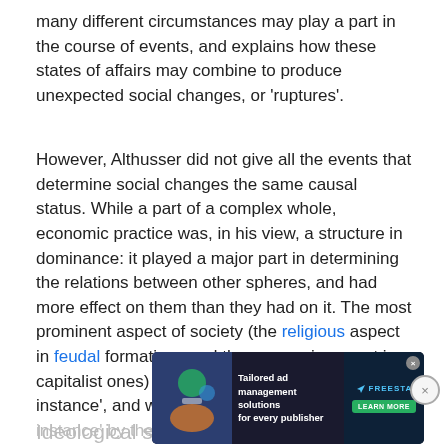many different circumstances may play a part in the course of events, and explains how these states of affairs may combine to produce unexpected social changes, or 'ruptures'.
However, Althusser did not give all the events that determine social changes the same causal status. While a part of a complex whole, economic practice was, in his view, a structure in dominance: it played a major part in determining the relations between other spheres, and had more effect on them than they had on it. The most prominent aspect of society (the religious aspect in feudal formations and the economic aspect in capitalist ones) was called the 'dominant instance', and was in turn determined 'in the last instance' by the economy. Althusser believed that the economic practice of a society determined which other aspects dominated in the complex whole,
Ideological state apparatuses
[Figure (other): Advertisement banner: 'Tailored ad management solutions for every publisher' with FREESTA branding and LEARN MORE button, with close button overlay]